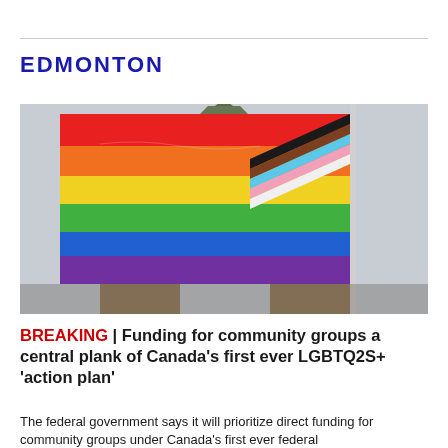EDMONTON
[Figure (photo): A progress pride flag flies in front of the Peace Tower on Parliament Hill in Ottawa, Canada. The flag features rainbow stripes plus chevron stripes of black, brown, light blue, pink, and white.]
BREAKING | Funding for community groups a central plank of Canada's first ever LGBTQ2S+ 'action plan'
The federal government says it will prioritize direct funding for community groups under Canada's first ever federal